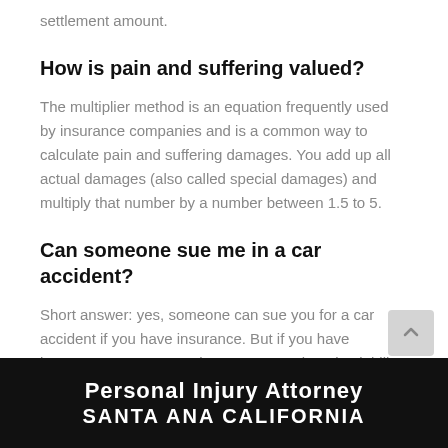settlement amount.
How is pain and suffering valued?
The multiplier method is an equation frequently used by insurance companies and is a common way to calculate pain and suffering damages. You add up all actual damages (also called special damages) and multiply that number by a number between 1.5 to 5.
Can someone sue me in a car accident?
Short answer: yes, someone can sue you for a car accident if you have insurance. But if you have insurance, you may not have to worry about it. Liability coverage includes paying for lawyers to defend you. It is also known as Personal Injury and Property Damage coverage.
[Figure (illustration): Dark banner image with bold white text reading 'Personal Injury Attorney SANTA ANA CALIFORNIA']